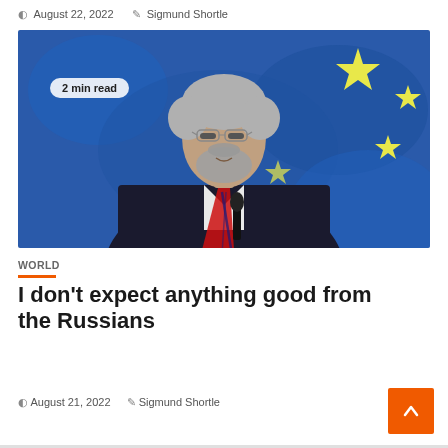August 22, 2022  Sigmund Shortle
[Figure (photo): A grey-haired man with glasses and a beard wearing a dark suit and striped tie, standing at a microphone. The background shows a blue European Union flag with yellow stars.]
2 min read
WORLD
I don't expect anything good from the Russians
August 21, 2022  Sigmund Shortle